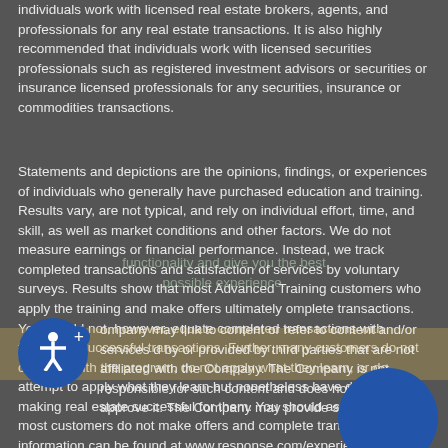individuals work with licensed real estate brokers, agents, and professionals for any real estate transactions. It is also highly recommended that individuals work with licensed securities professionals such as registered investment advisors or securities or insurance licensed professionals for any securities, insurance or commodities transactions.
Statements and depictions are the opinions, findings, or experiences of individuals who generally have purchased education and training. Results vary, are not typical, and rely on individual effort, time, and skill, as well as market conditions and other factors. We do not measure earnings or financial performance. Instead, we track completed transactions and satisfaction of services by voluntary surveys. Results show that most Advanced Training customers who apply the training and make offers ultimately omplete transactions. You should not, however, equate completed transactions with financially successful transactions. Further, many customers do not continue with the program, do not apply what they learn, or do attempt to apply what they learn but nonetheless have difficulty in making real estate successful for them. You should assume that most customers do not make offers and complete transactions. More information can be found at www.response.com/experience.
ompany may link to content or refer to content and/or services d by or provided by third parties that are not affiliated with the Company. The Company is not responsible for such content and does not endorse or approve it. The Company may provide services by...